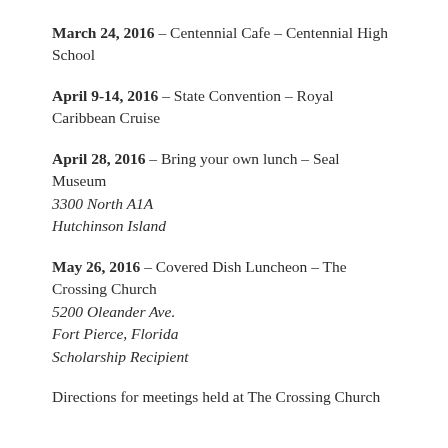March 24, 2016 – Centennial Cafe – Centennial High School
April 9-14, 2016 – State Convention – Royal Caribbean Cruise
April 28, 2016 – Bring your own lunch – Seal Museum
3300 North A1A
Hutchinson Island
May 26, 2016 – Covered Dish Luncheon – The Crossing Church
5200 Oleander Ave.
Fort Pierce, Florida
Scholarship Recipient
Directions for meetings held at The Crossing Church